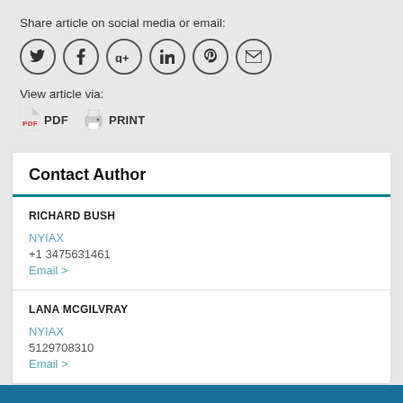Share article on social media or email:
[Figure (other): Social media sharing icons: Twitter, Facebook, Google+, LinkedIn, Pinterest, Email — each in a circle]
View article via:
PDF   PRINT
Contact Author
RICHARD BUSH
NYIAX
+1 3475631461
Email >
LANA MCGILVRAY
NYIAX
5129708310
Email >